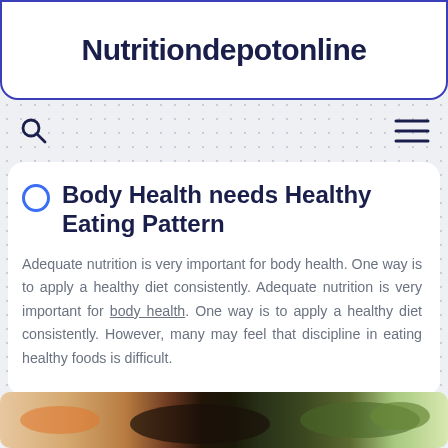Nutritiondepotonline
[Figure (screenshot): Search icon (magnifying glass) on the left and hamburger menu icon on the right]
Body Health needs Healthy Eating Pattern
Adequate nutrition is very important for body health. One way is to apply a healthy diet consistently. Adequate nutrition is very important for body health. One way is to apply a healthy diet consistently. However, many may feel that discipline in eating healthy foods is difficult.
[Figure (photo): Food photo strip showing vegetables and healthy foods at the bottom of the page]